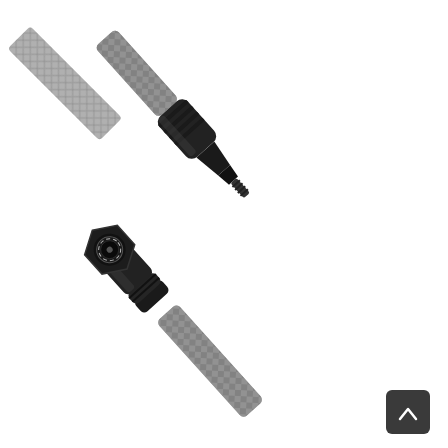[Figure (photo): Product photo showing two ends of a braided cable with black metal connectors on a white background. The upper portion shows a straight connector tip with ribbed/knurled black metal body and a threaded end, attached to a woven/braided cable. The lower portion shows a right-angle connector with a hexagonal black metal housing featuring a circular port, attached to a similar braided cable. A small dark scroll-up button with a chevron icon is visible in the bottom-right corner.]